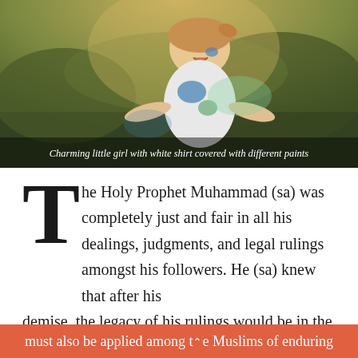[Figure (photo): A charming little girl with a white shirt covered with different paints, laughing joyfully outdoors in a green natural setting.]
Charming little girl with white shirt covered with different paints
The Holy Prophet Muhammad (sa) was completely just and fair in all his dealings, judgments, and legal rulings amongst his followers. He (sa) knew that after his demise, the legacy of his rulings would be in the hands of others, hence he (sa) deemed it essential that in the same way that as justice prevailed during his lifetime, just laws must also be applied among the Muslims of enduring